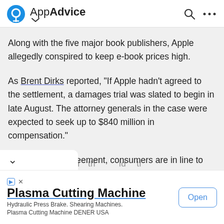AppAdvice
Along with the five major book publishers, Apple allegedly conspired to keep e-book prices high.
As Brent Dirks reported, "If Apple hadn't agreed to the settlement, a damages trial was slated to begin in late August. The attorney generals in the case were expected to seek up to $840 million in compensation."
Thanks to the agreement, consumers are in line to receive $400 million in the settlement.
[Figure (screenshot): Advertisement banner for Plasma Cutting Machine with Open button]